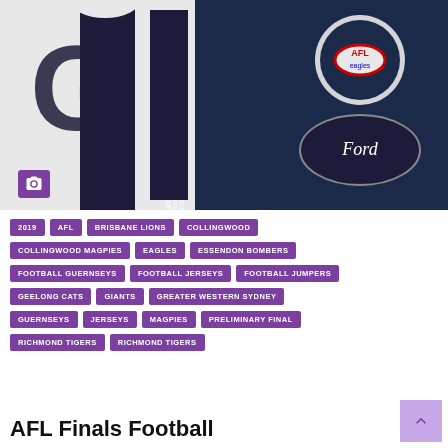[Figure (photo): Close-up photo of AFL football jerseys — Geelong Football Club (navy and white) jersey on left, another dark jersey with oval Ford logo badge on right]
2019
AFL
BRISBANE LIONS
COLLINGWOOD
COLLINGWOOD MAGPIES
EAGLES
ESSENDON BOMBERS
FOOTBALL GUERNSEYS
FOOTBALL JERSEYS
FOOTBALL JUMPERS
GEELONG CATS
GIANTS
GREATER WESTERN SYDNEY
GUERNSEYS
JERSEYS
MAGPIES
PRELIMINARY FINAL
RICHMOND TIGERS
RICHMOND TIGERS
AFL Finals Football